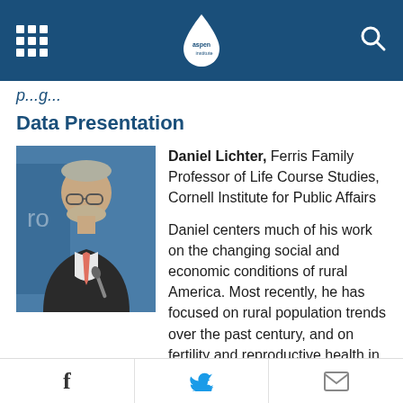Aspen Institute
...p...g...
Data Presentation
[Figure (photo): Headshot of Daniel Lichter, a middle-aged man with glasses and gray hair, speaking at a podium with a blue background.]
Daniel Lichter, Ferris Family Professor of Life Course Studies, Cornell Institute for Public Affairs

Daniel centers much of his work on the changing social and economic conditions of rural America. Most recently, he has focused on rural population trends over the past century, and on fertility and reproductive health in small-town America.
f  [Twitter bird]  [Mail icon]